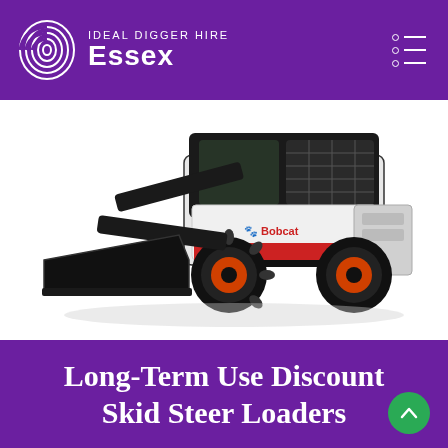IDEAL DIGGER HIRE Essex
[Figure (photo): A Bobcat skid steer loader (model S-715) with a front bucket attachment, shown in white/black/red color scheme on a white background.]
Long-Term Use Discount Skid Steer Loaders